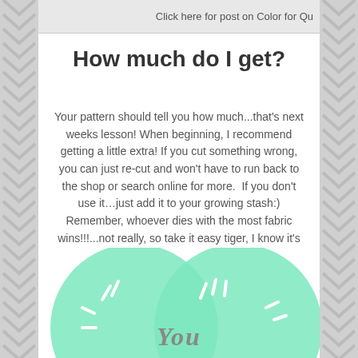Click here for post on Color for Qu
How much do I get?
Your pattern should tell you how much...that’s next weeks lesson! When beginning, I recommend getting a little extra! If you cut something wrong, you can just re-cut and won’t have to run back to the shop or search online for more.  If you don’t use it…just add it to your growing stash:) Remember, whoever dies with the most fabric wins!!!...not really, so take it easy tiger, I know it’s just all soooo beautiful:)
[Figure (illustration): Green/mint colored circular illustration resembling a sand dollar with the word 'You' in stylized text in the center]